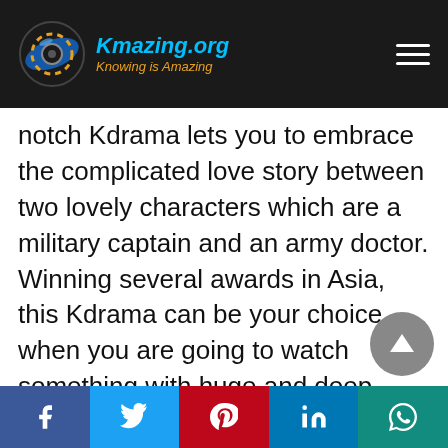Kmazing.org — Knowing is Amazing
notch Kdrama lets you to embrace the complicated love story between two lovely characters which are a military captain and an army doctor. Winning several awards in Asia, this Kdrama can be your choice when you are going to watch something with huge and deep romance with tense military adventures. The popularity of this drama seemingly has been elevated quickly thus it has multiple translated editions. Nevertheless, you can search for this best Kdrama on Netflix. Furthermore, there is also this beautiful Kdrama that you can find...
Facebook Twitter Pinterest LinkedIn WhatsApp